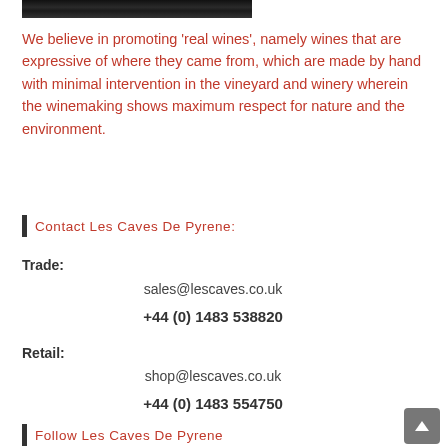[Figure (photo): Partial view of a dark photo strip at the top of the page]
We believe in promoting 'real wines', namely wines that are expressive of where they came from, which are made by hand with minimal intervention in the vineyard and winery wherein the winemaking shows maximum respect for nature and the environment.
Contact Les Caves De Pyrene:
Trade:
sales@lescaves.co.uk
+44 (0) 1483 538820
Retail:
shop@lescaves.co.uk
+44 (0) 1483 554750
Follow Les Caves De Pyrene